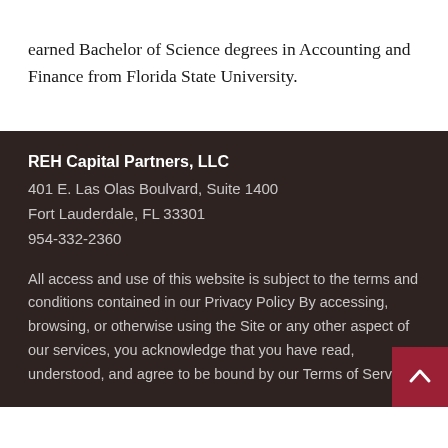earned Bachelor of Science degrees in Accounting and Finance from Florida State University.
REH Capital Partners, LLC
401 E. Las Olas Boulvard, Suite 1400
Fort Lauderdale, FL 33301
954-332-2360
All access and use of this website is subject to the terms and conditions contained in our Privacy Policy By accessing, browsing, or otherwise using the Site or any other aspect of our services, you acknowledge that you have read, understood, and agree to be bound by our Terms of Service.